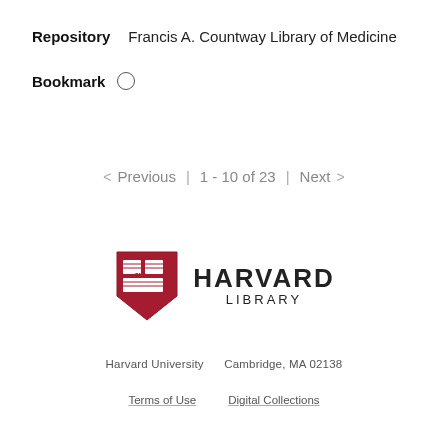Repository   Francis A. Countway Library of Medicine
Bookmark  ○
< Previous  |  1 - 10 of 23  |  Next  >
[Figure (logo): Harvard Library logo with crimson shield and HARVARD LIBRARY text]
Harvard University    Cambridge, MA 02138
Terms of Use    Digital Collections